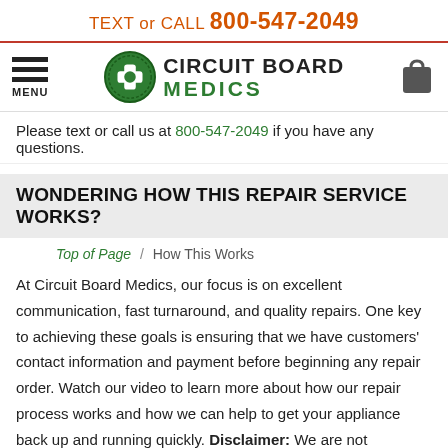TEXT or CALL 800-547-2049
[Figure (logo): Circuit Board Medics logo with green circle cross icon and company name]
Please text or call us at 800-547-2049 if you have any questions.
WONDERING HOW THIS REPAIR SERVICE WORKS?
Top of Page / How This Works
At Circuit Board Medics, our focus is on excellent communication, fast turnaround, and quality repairs. One key to achieving these goals is ensuring that we have customers' contact information and payment before beginning any repair order. Watch our video to learn more about how our repair process works and how we can help to get your appliance back up and running quickly. Disclaimer: We are not responsible for lost, delayed, or non-repaired items shipped to our facility without an order number.